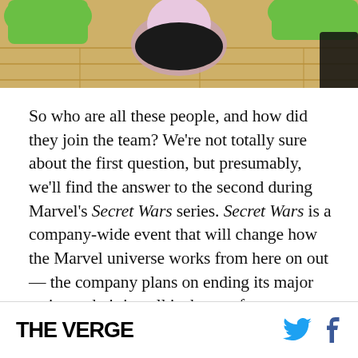[Figure (illustration): Comic book style illustration showing colorful characters, including green hands and a figure with dark hair, on a wooden floor background. Cropped at top of page.]
So who are all these people, and how did they join the team? We're not totally sure about the first question, but presumably, we'll find the answer to the second during Marvel's Secret Wars series. Secret Wars is a company-wide event that will change how the Marvel universe works from here on out — the company plans on ending its major series and pitting all its heroes from across the multiverse against each other. The new Avengers will arise out of that. Right now, though,
THE VERGE